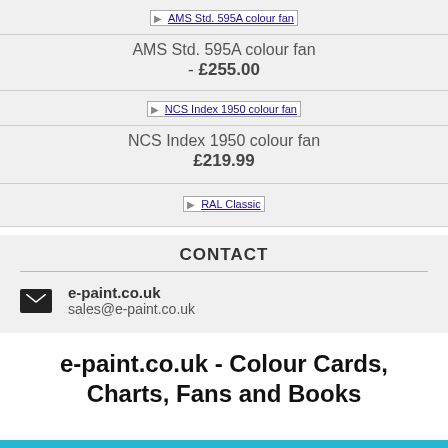[Figure (other): AMS Std. 595A colour fan product image placeholder with link text]
AMS Std. 595A colour fan - £255.00
[Figure (other): NCS Index 1950 colour fan product image placeholder with link text]
NCS Index 1950 colour fan £219.99
[Figure (other): RAL Classic product image placeholder with link text]
CONTACT
e-paint.co.uk
sales@e-paint.co.uk
e-paint.co.uk - Colour Cards, Charts, Fans and Books